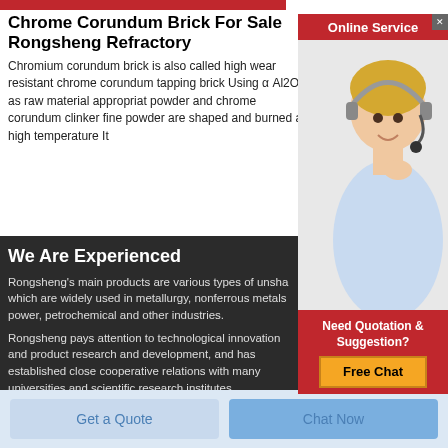[Figure (photo): Red banner bar at top of page]
Chrome Corundum Brick For Sale Rongsheng Refractory
Chromium corundum brick is also called high wear resistant chrome corundum tapping brick Using α Al2O3 as raw material appropriate powder and chrome corundum clinker fine powder are shaped and burned at high temperature It
[Figure (photo): Online Service popup with red header reading 'Online Service', a customer service representative woman wearing a headset, a 'Need Quotation & Suggestion?' section and a yellow 'Free Chat' button]
We Are Experienced
Rongsheng's main products are various types of unshaped which are widely used in metallurgy, nonferrous metals power, petrochemical and other industries.
Rongsheng pays attention to technological innovation and product research and development, and has established close cooperative relations with many universities and scientific research institutes.
Get a Quote
Chat Now